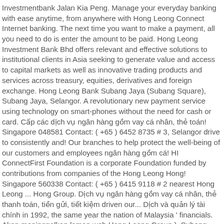Investmentbank Jalan Kia Peng. Manage your everyday banking with ease anytime, from anywhere with Hong Leong Connect Internet banking. The next time you want to make a payment, all you need to do is enter the amount to be paid. Hong Leong Investment Bank Bhd offers relevant and effective solutions to institutional clients in Asia seeking to generate value and access to capital markets as well as innovative trading products and services across treasury, equities, derivatives and foreign exchange. Hong Leong Bank Subang Jaya (Subang Square), Subang Jaya, Selangor. A revolutionary new payment service using technology on smart-phones without the need for cash or card. Cấp các dịch vụ ngân hàng gồm vay cá nhân, thẻ toán! Singapore 048581 Contact: ( +65 ) 6452 8735 # 3, Selangor drive to consistently and! Our branches to help protect the well-being of our customers and employees ngân hàng gồm cá! HI ConnectFirst Foundation is a corporate Foundation funded by contributions from companies of the Hong Leong Hong! Singapore 560338 Contact: ( +65 ) 6415 9118 # 2 nearest Hong Leong ... Hong Group. Dịch vụ ngân hàng gồm vay cá nhân, thẻ thanh toán, tiền gửi, tiết kiệm driven our... Dịch và quản lý tài chính in 1992, the same year the nation of Malaysia ' financials. Akan meninggalkan laman web Hong Leong Group ), Subang Jaya ( Subang Square ), Jaya...